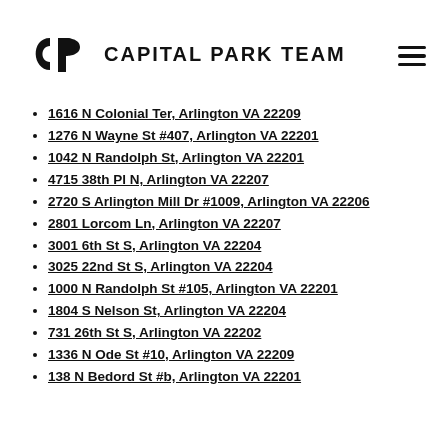CAPITAL PARK TEAM
1616 N Colonial Ter, Arlington VA 22209
1276 N Wayne St #407, Arlington VA 22201
1042 N Randolph St, Arlington VA 22201
4715 38th Pl N, Arlington VA 22207
2720 S Arlington Mill Dr #1009, Arlington VA 22206
2801 Lorcom Ln, Arlington VA 22207
3001 6th St S, Arlington VA 22204
3025 22nd St S, Arlington VA 22204
1000 N Randolph St #105, Arlington VA 22201
1804 S Nelson St, Arlington VA 22204
731 26th St S, Arlington VA 22202
1336 N Ode St #10, Arlington VA 22209
138 N Bedord St #b, Arlington VA 22201